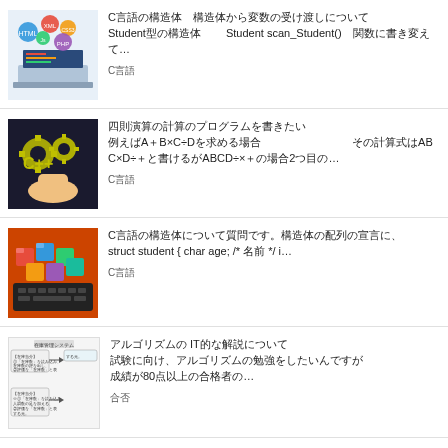C言語の構造体 構造体から変数の受け渡しについて Student型の構造体 Student scan_Student() 関数に書き変えて...
C言語
四則演算の計算のプログラムを書きたい 例えばA＋B×C÷Dを求める場合 その計算式はABC×D÷＋と書けるがABCD÷×＋の場合2つ目の...
C言語
C言語の構造体について質問です。構造体の配列の宣言に、 struct student { char age; /* 名前 */ i...
C言語
アルゴリズムの IT的な解説について 試験に向け、 アルゴリズムの勉強をしたいんですが 成績が80点以上の合格者の...
合否